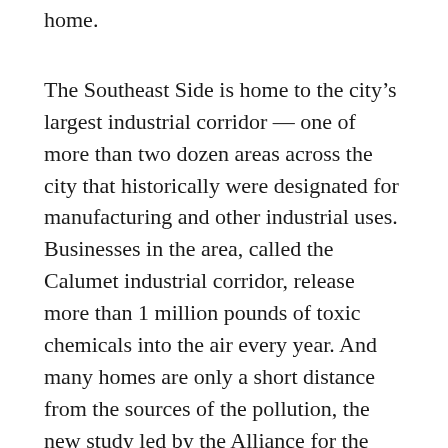home.
The Southeast Side is home to the city’s largest industrial corridor — one of more than two dozen areas across the city that historically were designated for manufacturing and other industrial uses. Businesses in the area, called the Calumet industrial corridor, release more than 1 million pounds of toxic chemicals into the air every year. And many homes are only a short distance from the sources of the pollution, the new study led by the Alliance for the Great Lakes says.
The authors of the study say city planners should consider the impact these chemicals and other pollution sources have on health as Chicago embarks on a review of the industrial corridor this year. The study points to